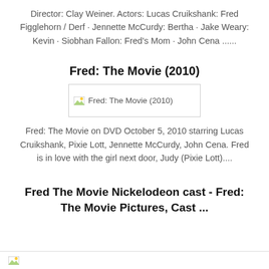Director: Clay Weiner. Actors: Lucas Cruikshank: Fred Figglehorn / Derf · Jennette McCurdy: Bertha · Jake Weary: Kevin · Siobhan Fallon: Fred's Mom · John Cena ......
Fred: The Movie (2010)
[Figure (photo): Image placeholder for Fred: The Movie (2010)]
Fred: The Movie on DVD October 5, 2010 starring Lucas Cruikshank, Pixie Lott, Jennette McCurdy, John Cena. Fred is in love with the girl next door, Judy (Pixie Lott)....
Fred The Movie Nickelodeon cast - Fred: The Movie Pictures, Cast ...
[Figure (photo): Image placeholder at bottom of page]